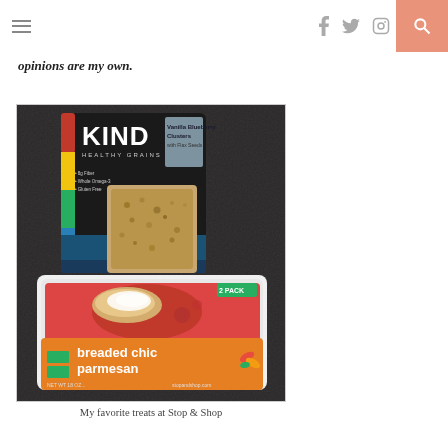navigation and social icons header
opinions are my own.
[Figure (photo): Photo of KIND Healthy Grains Vanilla Blueberry Clusters bag with Flax Seeds on a dark granite countertop, and in the foreground a Stop & Shop branded breaded chicken parmesan 2-pack tray packaging.]
My favorite treats at Stop & Shop